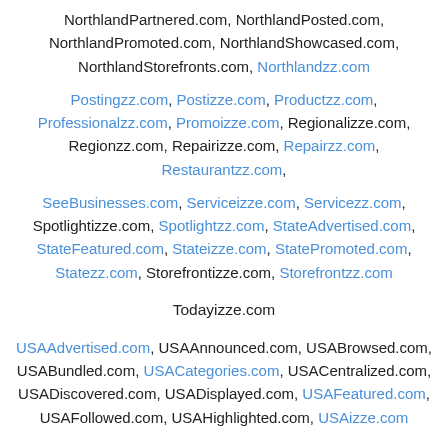NorthlandPartnered.com, NorthlandPosted.com, NorthlandPromoted.com, NorthlandShowcased.com, NorthlandStorefronts.com, Northlandzz.com
Postingzz.com, Postizze.com, Productzz.com, Professionalzz.com, Promoizze.com, Regionalizze.com, Regionzz.com, Repairizze.com, Repairzz.com, Restaurantzz.com,
SeeBusinesses.com, Serviceizze.com, Servicezz.com, Spotlightizze.com, Spotlightzz.com, StateAdvertised.com, StateFeatured.com, Stateizze.com, StatePromoted.com, Statezz.com, Storefrontizze.com, Storefrontzz.com
Todayizze.com
USAAdvertised.com, USAAnnounced.com, USABrowsed.com, USABundled.com, USACategories.com, USACentralized.com, USADiscovered.com, USADisplayed.com, USAFeatured.com, USAFollowed.com, USAHighlighted.com, USAizze.com